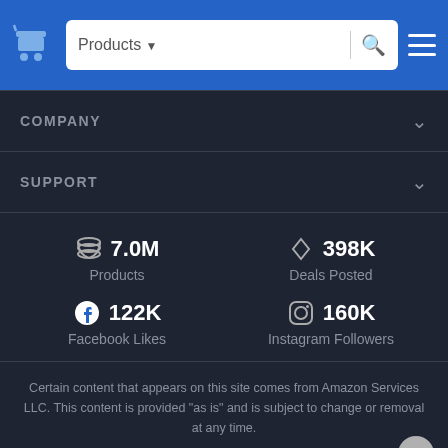Products ▾  [search bar]  ☰
COMPANY
SUPPORT
7.0M Products
398K Deals Posted
122K Facebook Likes
160K Instagram Followers
Certain content that appears on this site comes from Amazon Services LLC. This content is provided "as is" and is subject to change or removal at any time.
2022 Bricksee · Terms & Conditions · Privacy Policy · Report an ad